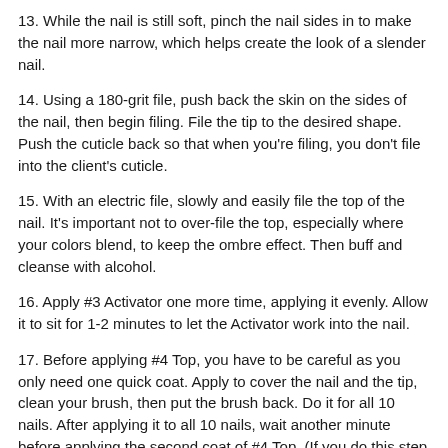13. While the nail is still soft, pinch the nail sides in to make the nail more narrow, which helps create the look of a slender nail.
14. Using a 180-grit file, push back the skin on the sides of the nail, then begin filing. File the tip to the desired shape. Push the cuticle back so that when you're filing, you don't file into the client's cuticle.
15. With an electric file, slowly and easily file the top of the nail. It's important not to over-file the top, especially where your colors blend, to keep the ombre effect. Then buff and cleanse with alcohol.
16. Apply #3 Activator one more time, applying it evenly. Allow it to sit for 1-2 minutes to let the Activator work into the nail.
17. Before applying #4 Top, you have to be careful as you only need one quick coat. Apply to cover the nail and the tip, clean your brush, then put the brush back. Do it for all 10 nails. After applying it to all 10 nails, wait another minute before applying the second coat of #4 Top. (If you do this step too quickly, the Activator can work against you to dull your top coat and the nails won't stay shiny.)